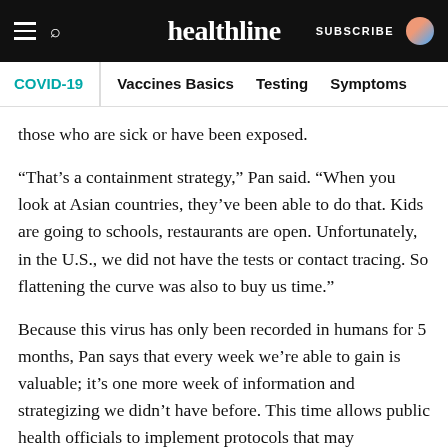healthline — SUBSCRIBE
COVID-19 | Vaccines Basics   Testing   Symptoms
those who are sick or have been exposed.
“That’s a containment strategy,” Pan said. “When you look at Asian countries, they’ve been able to do that. Kids are going to schools, restaurants are open. Unfortunately, in the U.S., we did not have the tests or contact tracing. So flattening the curve was also to buy us time.”
Because this virus has only been recorded in humans for 5 months, Pan says that every week we’re able to gain is valuable; it’s one more week of information and strategizing we didn’t have before. This time allows public health officials to implement protocols that may